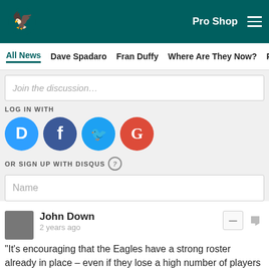Philadelphia Eagles — Pro Shop navigation bar
All News | Dave Spadaro | Fran Duffy | Where Are They Now? | Pu…
Join the discussion…
LOG IN WITH
[Figure (logo): Four social login icons: Disqus (D, blue), Facebook (f, dark blue), Twitter (bird, light blue), Google (G, red)]
OR SIGN UP WITH DISQUS ?
Name
John Down
2 years ago
"It's encouraging that the Eagles have a strong roster already in place – even if they lose a high number of players in free agency." Really? An entire D-backfield that contnues to